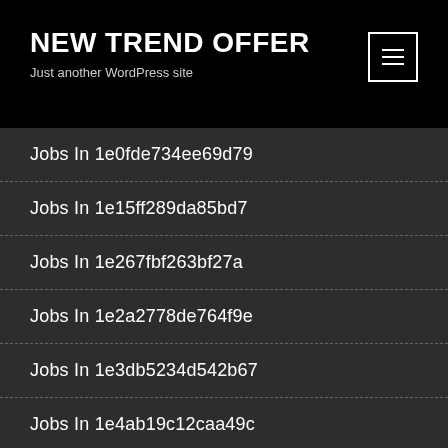NEW TREND OFFER
Just another WordPress site
Jobs In 1e0fde734ee69d79
Jobs In 1e15ff289da85bd7
Jobs In 1e267fbf263bf27a
Jobs In 1e2a2778de764f9e
Jobs In 1e3db5234d542b67
Jobs In 1e4ab19c12caa49c